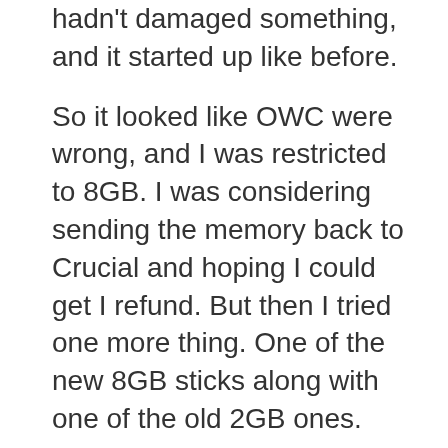hadn't damaged something, and it started up like before.
So it looked like OWC were wrong, and I was restricted to 8GB. I was considering sending the memory back to Crucial and hoping I could get I refund. But then I tried one more thing. One of the new 8GB sticks along with one of the old 2GB ones.
And it booted up, smooth as a cliche.
Of course I tried swapping out one